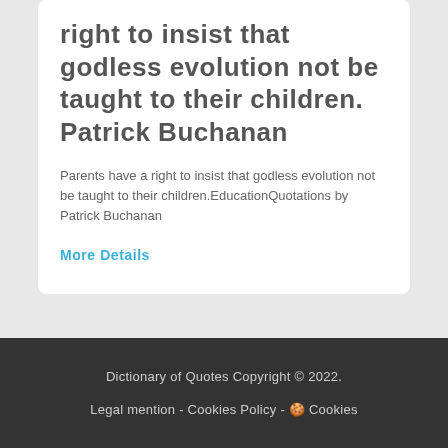right to insist that godless evolution not be taught to their children. Patrick Buchanan
Parents have a right to insist that godless evolution not be taught to their children.EducationQuotations by Patrick Buchanan
More Details
Dictionary of Quotes Copyright © 2022.
Legal mention - Cookies Policy - 🍪 Cookies